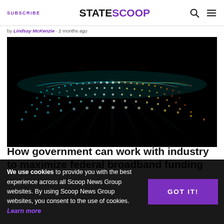SUBSCRIBE | STATESCOOP
by Lindsay McKenzie · 2 months ago
[Figure (photo): Abstract digital network visualization showing glowing dots and lines forming a wave-like pattern on a black background, with cyan, blue, and white/gold gradient colors.]
How government can work with industry to maximize federal broadband funding
We use cookies to provide you with the best experience across all Scoop News Group websites. By using Scoop News Group websites, you consent to the use of cookies. Learn more
GOT IT!